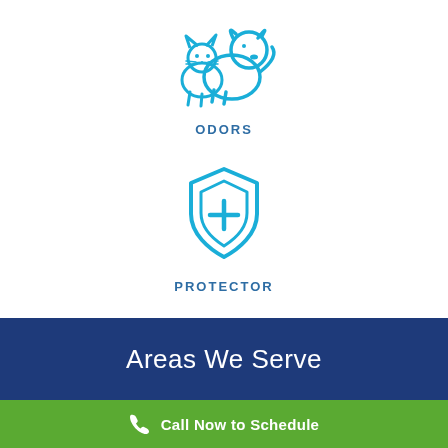[Figure (illustration): Blue line-art icon of a dog and cat sitting together]
ODORS
[Figure (illustration): Blue line-art icon of a shield with a plus sign]
PROTECTOR
Areas We Serve
Call Now to Schedule